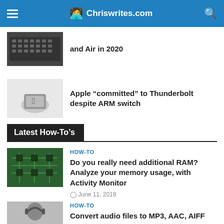Chriswrites.com
and Air in 2020
Apple “committed” to Thunderbolt despite ARM switch
Latest How-To’s
HOW-TO
Do you really need additional RAM? Analyze your memory usage, with Activity Monitor
June 11, 2019
HOW-TO
Convert audio files to MP3, AAC, AIFF